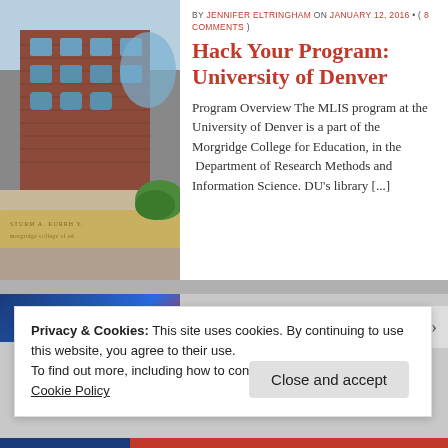[Figure (photo): Brick university building exterior with arched windows and landscaping, stone sign in foreground]
BY JENNIFER ELTRINGHAM ON JANUARY 12, 2016 • ( 8 COMMENTS )
Hack Your Program: University of Denver
Program Overview The MLIS program at the University of Denver is a part of the Morgridge College for Education, in the Department of Research Methods and Information Science. DU's library [...]
[Figure (photo): Partial view of another article image with blue background]
Privacy & Cookies: This site uses cookies. By continuing to use this website, you agree to their use.
To find out more, including how to control cookies, see here:
Cookie Policy
Close and accept